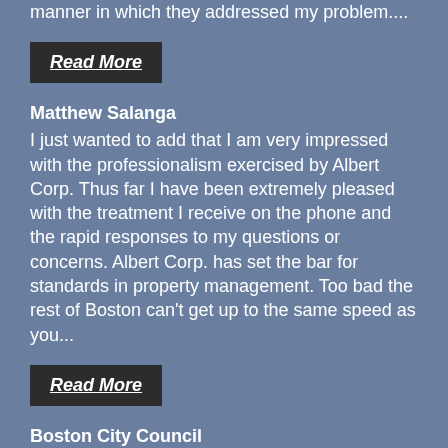manner in which they addressed my problem....
Read More
Matthew Salanga
I just wanted to add that I am very impressed with the professionalism exercised by Albert Corp. Thus far I have been extremely pleased with the treatment I receive on the phone and the rapid responses to my questions or concerns. Albert Corp. has set the bar for standards in property management. Too bad the rest of Boston can't get up to the same speed as you...
Read More
Boston City Council
Robert I. Albert and the Albert Corporation have been involved in the development, marketing and management of condominiums in the greater Boston area over the past several years. I have been very favorably impressed with Mr. Albert's capacity to satisfy the concerns of community residents while maintaining the viability of his projects.